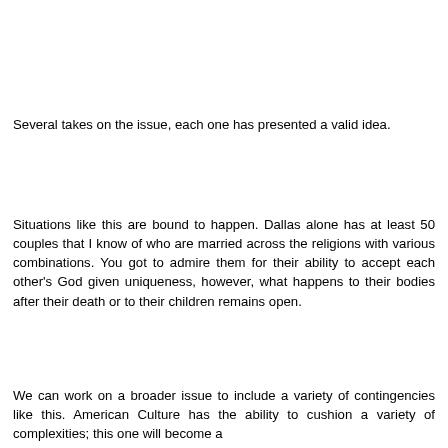Several takes on the issue, each one has presented a valid idea.
Situations like this are bound to happen. Dallas alone has at least 50 couples that I know of who are married across the religions with various combinations. You got to admire them for their ability to accept each other's God given uniqueness, however, what happens to their bodies after their death or to their children remains open.
We can work on a broader issue to include a variety of contingencies like this. American Culture has the ability to cushion a variety of complexities; this one will become a